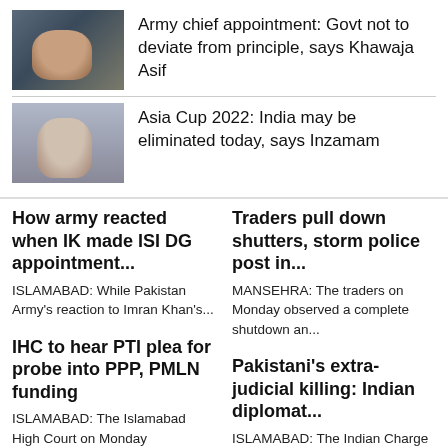[Figure (photo): Photo of a man speaking, political figure]
Army chief appointment: Govt not to deviate from principle, says Khawaja Asif
[Figure (photo): Photo of a bearded man in white clothing]
Asia Cup 2022: India may be eliminated today, says Inzamam
How army reacted when IK made ISI DG appointment...
ISLAMABAD: While Pakistan Army's reaction to Imran Khan's...
Traders pull down shutters, storm police post in...
MANSEHRA: The traders on Monday observed a complete shutdown an...
IHC to hear PTI plea for probe into PPP, PMLN funding
ISLAMABAD: The Islamabad High Court on Monday fixed for hearing the...
Pakistani's extra-judicial killing: Indian diplomat...
ISLAMABAD: The Indian Charge d'Affaires on Monday summarily lit...